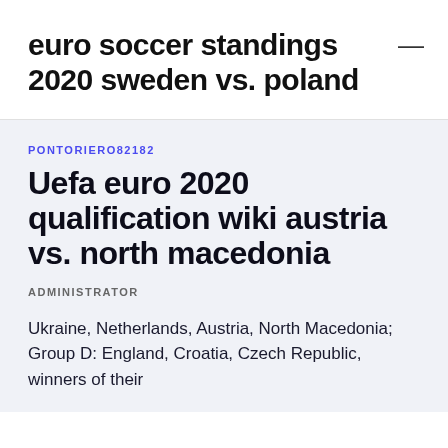euro soccer standings 2020 sweden vs. poland
PONTORIERO82182
Uefa euro 2020 qualification wiki austria vs. north macedonia
ADMINISTRATOR
Ukraine, Netherlands, Austria, North Macedonia; Group D: England, Croatia, Czech Republic, winners of their